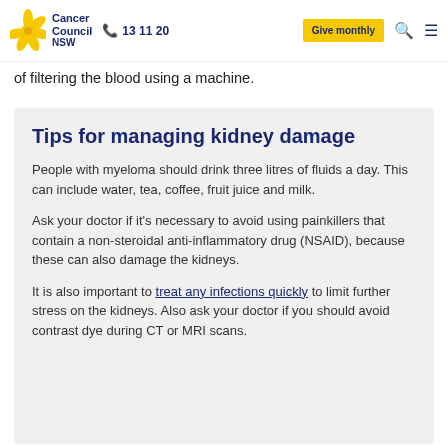Cancer Council NSW | 13 11 20 | Give monthly
of filtering the blood using a machine.
Tips for managing kidney damage
People with myeloma should drink three litres of fluids a day. This can include water, tea, coffee, fruit juice and milk.
Ask your doctor if it’s necessary to avoid using painkillers that contain a non-steroidal anti-inflammatory drug (NSAID), because these can also damage the kidneys.
It is also important to treat any infections quickly to limit further stress on the kidneys. Also ask your doctor if you should avoid contrast dye during CT or MRI scans.